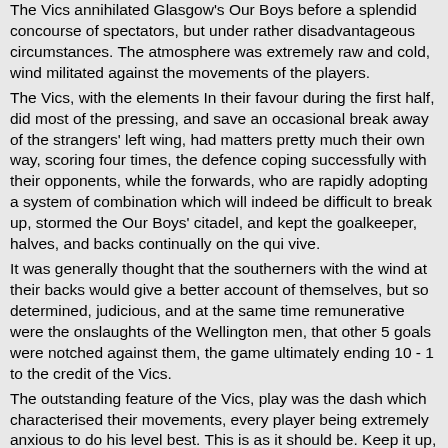The Vics annihilated Glasgow's Our Boys before a splendid concourse of spectators, but under rather disadvantageous circumstances. The atmosphere was extremely raw and cold, wind militated against the movements of the players.
The Vics, with the elements In their favour during the first half, did most of the pressing, and save an occasional break away of the strangers' left wing, had matters pretty much their own way, scoring four times, the defence coping successfully with their opponents, while the forwards, who are rapidly adopting a system of combination which will indeed be difficult to break up, stormed the Our Boys' citadel, and kept the goalkeeper, halves, and backs continually on the qui vive.
It was generally thought that the southerners with the wind at their backs would give a better account of themselves, but so determined, judicious, and at the same time remunerative were the onslaughts of the Wellington men, that other 5 goals were notched against them, the game ultimately ending 10 - 1 to the credit of the Vics.
The outstanding feature of the Vics, play was the dash which characterised their movements, every player being extremely anxious to do his level best. This is as it should be. Keep it up, gentlemen.
That the Vics, have indeed fairly got into their old form goes without saying. In addition, Willie Stewart was not doing service, owing to an injured leg.
Gray in goal did everything that came his way in a masterly fashion, and several times repulsed the strangers when a goal seemed inevitable.
Ririe was in brilliant form at back, tackling and kicking with telling effect. Thomson suffered in comparison with his partner, but, nevertheless, put in a lot of good defensive work.
Hickie was the best of the trio of half-backs, blocking and placing in rare style.